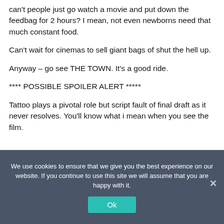can't people just go watch a movie and put down the feedbag for 2 hours?  I mean, not even newborns need that much constant food.
Can't wait for cinemas to sell giant bags of shut the hell up.
Anyway – go see THE TOWN.  It's a good ride.
**** POSSIBLE SPOILER ALERT *****
Tattoo plays a pivotal role but script fault of final draft as it never resolves.  You'll know what i mean when you see the film.
We use cookies to ensure that we give you the best experience on our website. If you continue to use this site we will assume that you are happy with it.